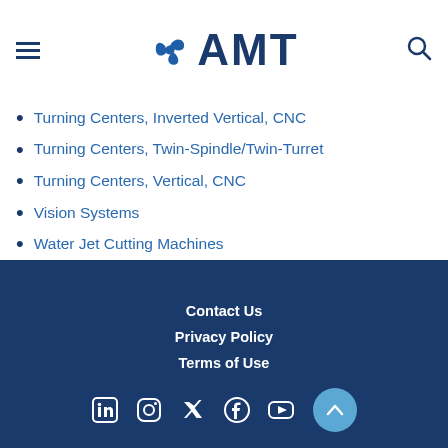AMT - Navigation bar with logo
Turning of all types including Automatic and Turn/Mill Lathes (partially visible)
Turning Centers, Inverted Vertical, CNC
Turning Centers, Twin-Spindle/Twin-Turret
Turning Centers, Vertical, CNC
Vision Systems
Water Jet Cutting Machines
Weight Scales
Workpiece Handling, Loading and Feeding Equipment
Contact Us | Privacy Policy | Terms of Use | Social icons: LinkedIn, Instagram, Twitter, Facebook, YouTube | Scroll to top button